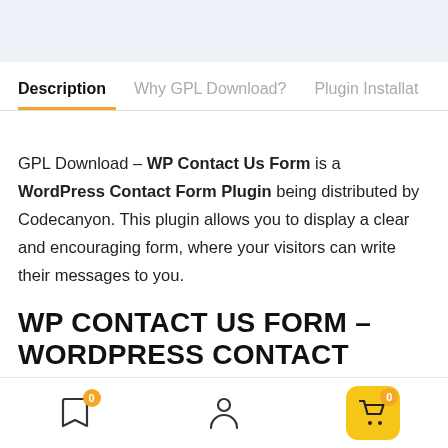Description | Why GPL Download? | Plugin Installat
GPL Download – WP Contact Us Form is a WordPress Contact Form Plugin being distributed by Codecanyon. This plugin allows you to display a clear and encouraging form, where your visitors can write their messages to you.
WP CONTACT US FORM – WORDPRESS CONTACT FORM PLUGIN FEATURES :
0 bookmark | person | 0 cart